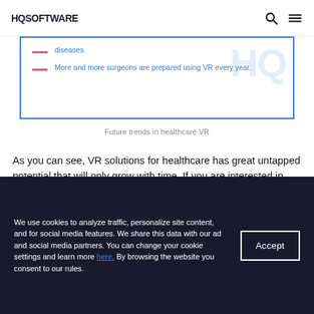HQ SOFTWARE
[Figure (infographic): Partially visible infographic box with blue border showing bullet points about healthcare VR trends. Contains watermark 'HQ' and bullet: 'More and more surgeons are prepared using VR every year.']
Future trends in healthcare VR
As you can see, VR solutions for healthcare has great untapped potential that will only grow with time. If you are interested in developing your own healthcare VR solution, just drop us a line!
We use cookies to analyze traffic, personalize site content, and for social media features. We share this data with our ad and social media partners. You can change your cookie settings and learn more here. By browsing the website you consent to our rules.